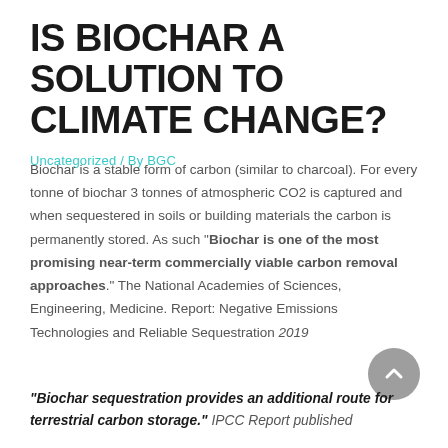IS BIOCHAR A SOLUTION TO CLIMATE CHANGE?
Uncategorized / By BGC
Biochar is a stable form of carbon (similar to charcoal). For every tonne of biochar 3 tonnes of atmospheric CO2 is captured and when sequestered in soils or building materials the carbon is permanently stored. As such "Biochar is one of the most promising near-term commercially viable carbon removal approaches". The National Academies of Sciences, Engineering, Medicine. Report: Negative Emissions Technologies and Reliable Sequestration 2019
"Biochar sequestration provides an additional route for terrestrial carbon storage." IPCC Report published